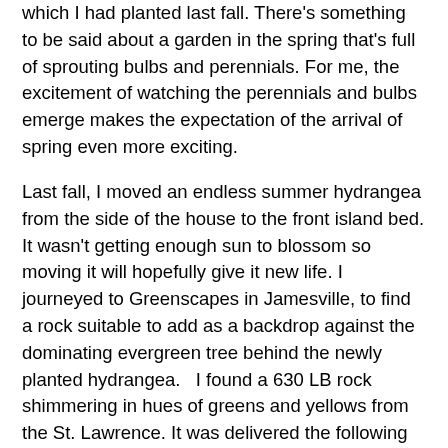which I had planted last fall.  There's something to be said about a garden in the spring that's full of sprouting bulbs and perennials.  For me, the excitement of watching the perennials and bulbs emerge makes the expectation of the arrival of spring even more exciting.
Last fall, I moved an endless summer hydrangea from the side of the house to the front island bed.  It wasn't getting enough sun to blossom so moving it will hopefully give it new life. I journeyed to Greenscapes in Jamesville, to find a rock suitable to add as a backdrop against the dominating evergreen tree behind the newly planted hydrangea.   I found a 630 LB rock shimmering in hues of greens and yellows from the St. Lawrence.  It was delivered the following week and became the much needed element in the island.  It became center stage against the existing anemones, white and purple butterfly bushes, black eyed susans and a white cone hydrangea shrub.
“You’re invited to tour a secret garden” was the invite to view my garden from a local garden club.   They are coming mid-